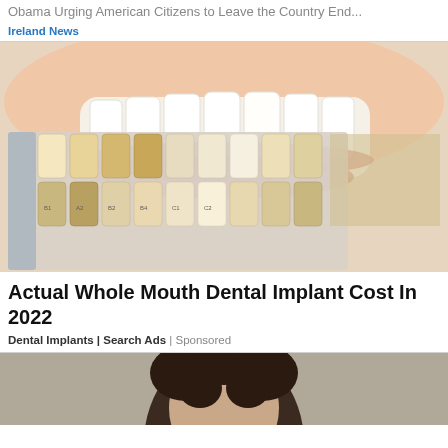Obama Urging American Citizens to Leave the Country End...
Ireland News
[Figure (photo): Close-up photo of a person smiling with white teeth and a dental shade guide (tooth color swatch card) held up in front to compare shades, ranging from white to dark yellow/brown]
Actual Whole Mouth Dental Implant Cost In 2022
Dental Implants | Search Ads | Sponsored
[Figure (photo): Partial photo of a person with dark curly hair, cropped at top of frame showing face/head from mid-forehead up]